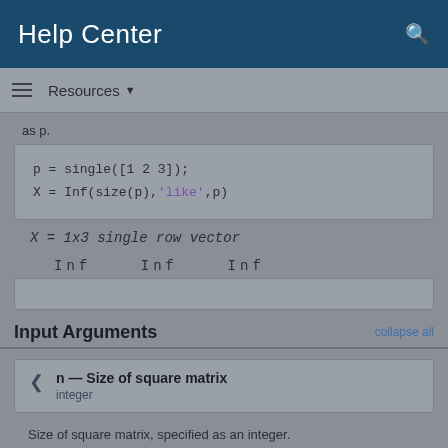Help Center
Resources ▼
as p.
p = single([1 2 3]);
X = Inf(size(p),'like',p)
X = 1x3 single row vector
    Inf   Inf   Inf
Input Arguments
collapse all
n — Size of square matrix
integer
Size of square matrix, specified as an integer.